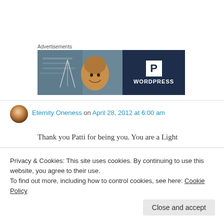Advertisements
[Figure (photo): WordPress advertisement banner with a smiling woman on the left half and the WordPress logo (P in white box) with 'WORDPRESS' text on a dark navy blue background on the right half.]
Eternity Oneness on April 28, 2012 at 6:00 am
Thank you Patti for being you. You are a Light
Privacy & Cookies: This site uses cookies. By continuing to use this website, you agree to their use.
To find out more, including how to control cookies, see here: Cookie Policy